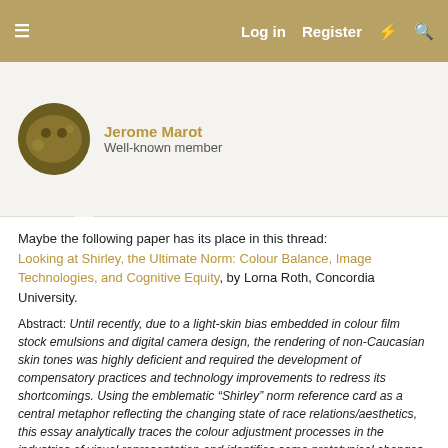Log in  Register
Jerome Marot
Well-known member
Maybe the following paper has its place in this thread:
Looking at Shirley, the Ultimate Norm: Colour Balance, Image Technologies, and Cognitive Equity, by Lorna Roth, Concordia University.
Abstract: Until recently, due to a light-skin bias embedded in colour film stock emulsions and digital camera design, the rendering of non-Caucasian skin tones was highly deficient and required the development of compensatory practices and technology improvements to redress its shortcomings. Using the emblematic “Shirley” norm reference card as a central metaphor reflecting the changing state of race relations/aesthetics, this essay analytically traces the colour adjustment processes in the industries of visual representation and identifies some prototypical changes in the field. The author contextualizes the history of these changes using three theoretical categories: the ‘technological unconscious’ (Vaccari, 1981), ‘dysconsciousness’ (King, 2001), and an original concept of ‘cognitive equity,’ which is proposed as an intelligent strategy for creating and promoting equity by inscribing a wider dynamic range of skin tones into image technologies, products, and emergent practices in the visual industries.
And, if I may add some personal experience not quite related to colour: in the